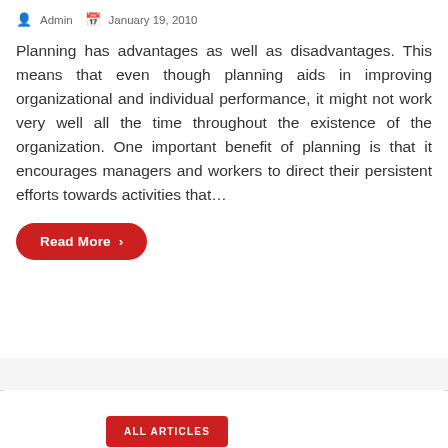Admin  January 19, 2010
Planning has advantages as well as disadvantages. This means that even though planning aids in improving organizational and individual performance, it might not work very well all the time throughout the existence of the organization. One important benefit of planning is that it encourages managers and workers to direct their persistent efforts towards activities that…
Read More >
ALL ARTICLES